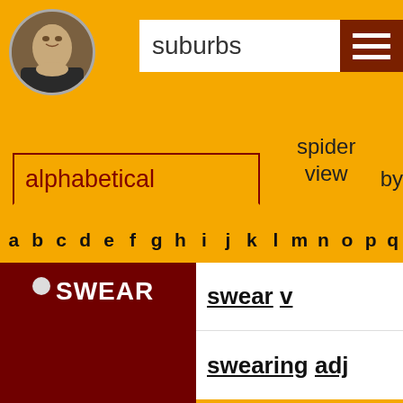[Figure (illustration): Shakespeare portrait in circular frame]
suburbs
alphabetical
spider view
by frequency
by
a b c d e f g h i j k l m n o p q
SWEAR
swear v
swearing adj
swearing n